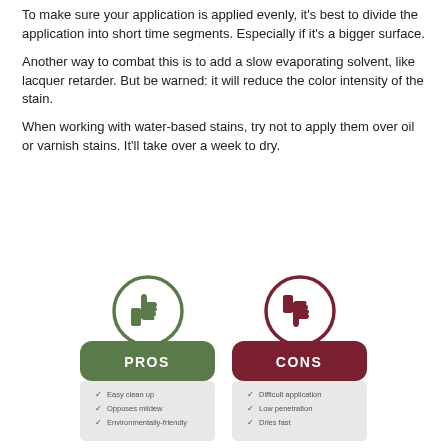To make sure your application is applied evenly, it's best to divide the application into short time segments. Especially if it's a bigger surface.
Another way to combat this is to add a slow evaporating solvent, like lacquer retarder. But be warned: it will reduce the color intensity of the stain.
When working with water-based stains, try not to apply them over oil or varnish stains. It'll take over a week to dry.
[Figure (infographic): Pros and Cons infographic. Left side: green circle with thumbs up icon, green rounded rectangle labeled PROS, light gray area with checkmarks listing: Easy clean up, Opposes mildew, Environmentally-friendly. Right side: dark red circle with thumbs down icon, dark red rounded rectangle labeled CONS, light gray area with checkmarks listing: Difficult application, Low penetration, Dries fast.]